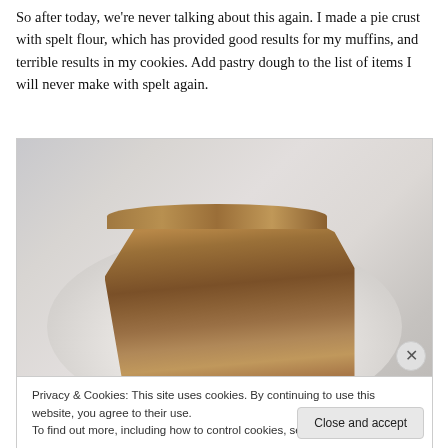So after today, we're never talking about this again. I made a pie crust with spelt flour, which has provided good results for my muffins, and terrible results in my cookies. Add pastry dough to the list of items I will never make with spelt again.
[Figure (photo): A slice of pie with a crumbly, rough-textured spelt flour crust on a white plate.]
Privacy & Cookies: This site uses cookies. By continuing to use this website, you agree to their use.
To find out more, including how to control cookies, see here: Cookie Policy